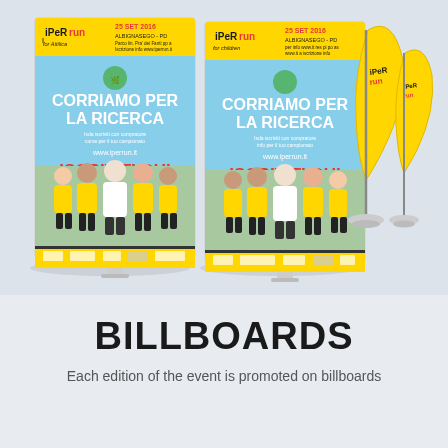[Figure (photo): Photo mockup of two tall roll-up banners and two teardrop-shaped feather flags for the iPerrun sporting event. The banners show 'CORRIAMO PER LA RICERCA' and 'ISCRIVITI QUI' text with runners in yellow shirts, set against a light blue-grey background. The feather flags are yellow with the iPerrun logo.]
BILLBOARDS
Each edition of the event is promoted on billboards